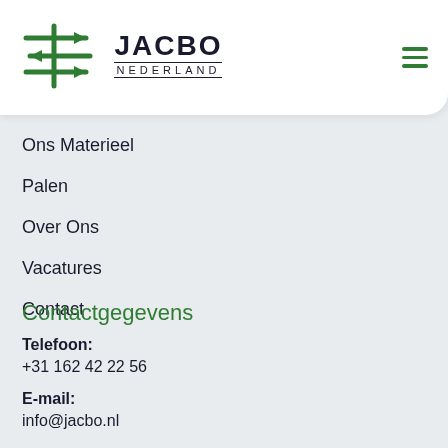[Figure (logo): Jacbo Nederland logo with green horizontal arrows and company name]
Ons Materieel
Palen
Over Ons
Vacatures
Contact
Contactgegevens
Telefoon:
+31 162 42 22 56
E-mail:
info@jacbo.nl